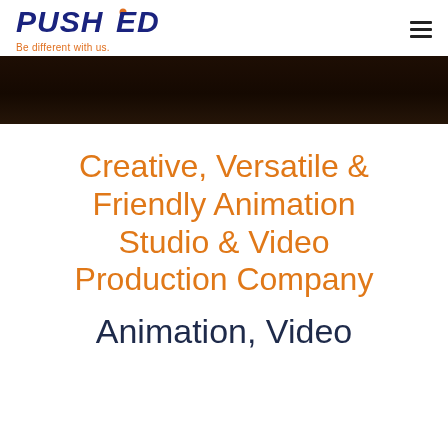PUSHED — Be different with us.
[Figure (illustration): Dark brown gradient banner image]
Creative, Versatile & Friendly Animation Studio & Video Production Company
Animation, Video